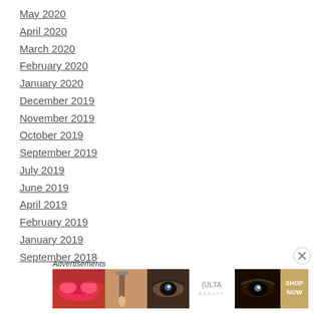May 2020
April 2020
March 2020
February 2020
January 2020
December 2019
November 2019
October 2019
September 2019
July 2019
June 2019
April 2019
February 2019
January 2019
September 2018
Advertisements
[Figure (illustration): Ulta Beauty advertisement banner showing lips with lipstick, makeup brush, eye with makeup, Ulta Beauty logo, eye with eyeliner, and SHOP NOW text]